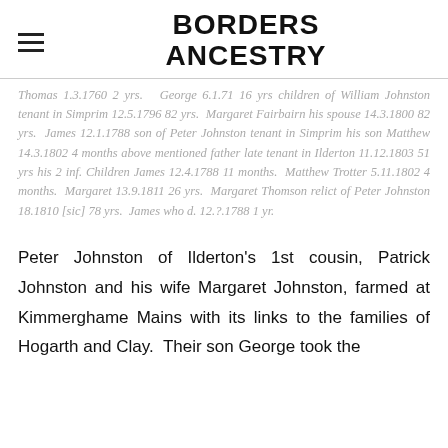BORDERS ANCESTRY
Thomas 1.3.1760 2 yrs. George 6.1.71 16 yrs children of William Johnston tenant in Simprim 12.5.1796 82 yrs. Margaret Fairbairn his spouse 14.3.1800 82 yrs. James 12.1.1788 son of Peter Johnston tenant in Simprim his son Matthew 14.3.1802 4 months above mentioned father late tenant in Ilderton 11.12.1803 51 yrs his 2 inf. Children James 12.4.1788 11 months. Matthew Trotter 5.11.1802 4 months. Margaret 13.9.1811 26 yrs. Margaret Thomson relict of Peter Johnston 18.1810 [sic] 78 yrs. James who d. 12.?.1788 1 yr.
Peter Johnston of Ilderton's 1st cousin, Patrick Johnston and his wife Margaret Johnston, farmed at Kimmerghame Mains with its links to the families of Hogarth and Clay. Their son George took the